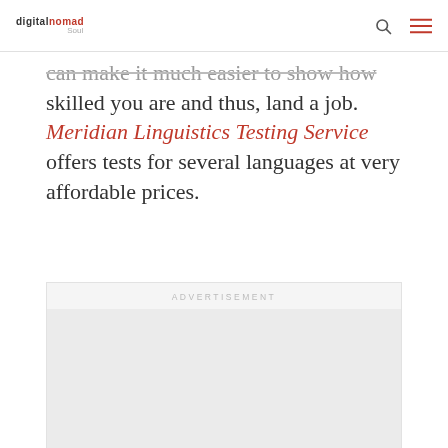digitalnomad soul
can make it much easier to show how skilled you are and thus, land a job. Meridian Linguistics Testing Service offers tests for several languages at very affordable prices.
[Figure (other): Advertisement placeholder box with label 'ADVERTISEMENT' and empty gray content area]